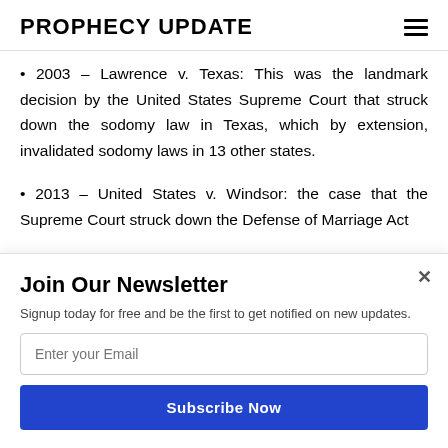PROPHECY UPDATE
2003 – Lawrence v. Texas: This was the landmark decision by the United States Supreme Court that struck down the sodomy law in Texas, which by extension, invalidated sodomy laws in 13 other states.
2013 – United States v. Windsor: the case that the Supreme Court struck down the Defense of Marriage Act
Join Our Newsletter
Signup today for free and be the first to get notified on new updates.
Enter your Email
Subscribe Now